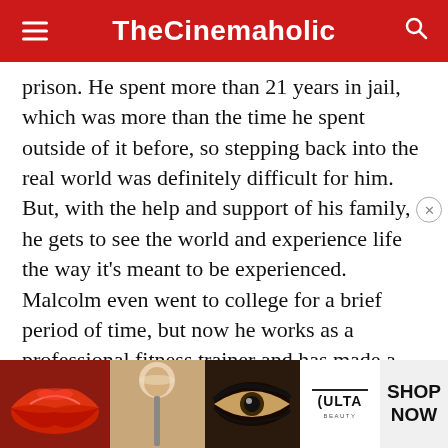TheCinemaholic
prison. He spent more than 21 years in jail, which was more than the time he spent outside of it before, so stepping back into the real world was definitely difficult for him. But, with the help and support of his family, he gets to see the world and experience life the way it's meant to be experienced. Malcolm even went to college for a brief period of time, but now he works as a professional fitness trainer and has made a good life for himself. (Featured Image Credit:
[Figure (photo): ULTA Beauty advertisement showing cosmetics imagery including lips, makeup brush, eye makeup, with SHOP NOW call to action]